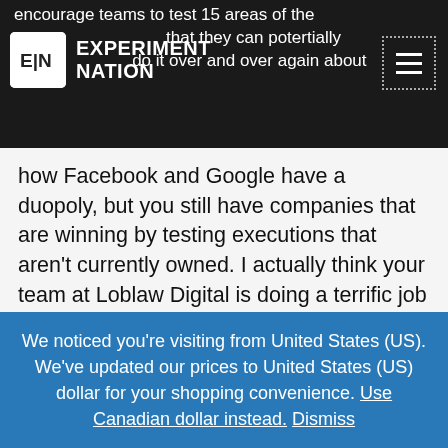encourage teams to test 15 areas of the matter that they can potentially do – and do it over and over again about
[Figure (logo): Experiment Nation logo: white icon with 'E|N' letters and speech bubble, white text reading EXPERIMENT NATION]
how Facebook and Google have a duopoly, but you still have companies that are winning by testing executions that aren't currently owned. I actually think your team at Loblaw Digital is doing a terrific job of this! Continuously investing in owned properties like your stores or websites and building new ones is a great way to grow sustainably.
We noticed you're visiting from United States (US). We've updated our prices to United States (US) dollar for your shopping convenience. Use Canadian dollar instead. Dismiss